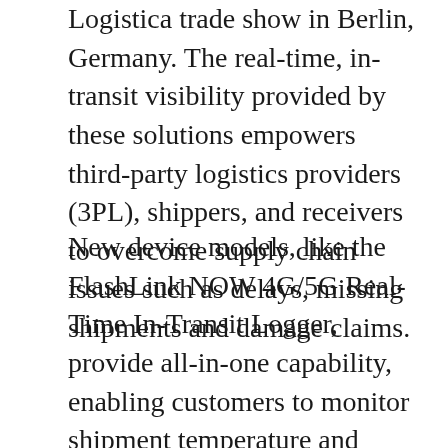Logistica trade show in Berlin, Germany. The real-time, in-transit visibility provided by these solutions empowers third-party logistics providers (3PL), shippers, and receivers to overcome supply chain issues such as delays, missing shipments and damage claims.
New device models, like the FlashLink NOW 4G/5G Real-Time In-Transit Logger, provide all-in-one capability, enabling customers to monitor shipment temperature and location, as well as humidity, shock, and light. A large LCD screen complements FlashTrak cloud service data by enabling users to have immediate interface with key real time data parameters active in the device.